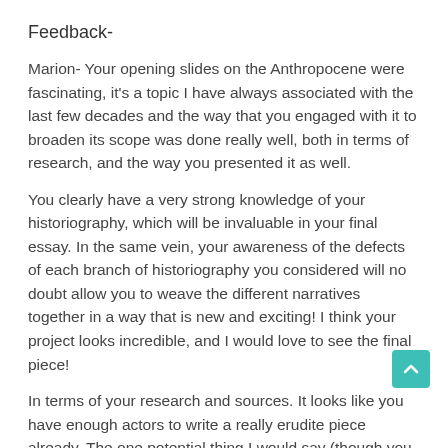Feedback-
Marion- Your opening slides on the Anthropocene were fascinating, it's a topic I have always associated with the last few decades and the way that you engaged with it to broaden its scope was done really well, both in terms of research, and the way you presented it as well.
You clearly have a very strong knowledge of your historiography, which will be invaluable in your final essay. In the same vein, your awareness of the defects of each branch of historiography you considered will no doubt allow you to weave the different narratives together in a way that is new and exciting! I think your project looks incredible, and I would love to see the final piece!
In terms of your research and sources. It looks like you have enough actors to write a really erudite piece already. The one potential thing I would say (though you have probably thought about this already) is that looking at your source